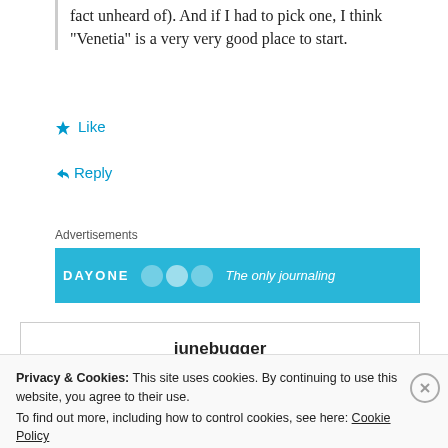fact unheard of). And if I had to pick one, I think “Venetia” is a very very good place to start.
★ Like
➤ Reply
Advertisements
[Figure (other): Day One journaling app advertisement banner with blue background showing DAY ONE logo, circular icons, and tagline 'The only journaling']
junebugger
Privacy & Cookies: This site uses cookies. By continuing to use this website, you agree to their use.
To find out more, including how to control cookies, see here: Cookie Policy
Close and accept